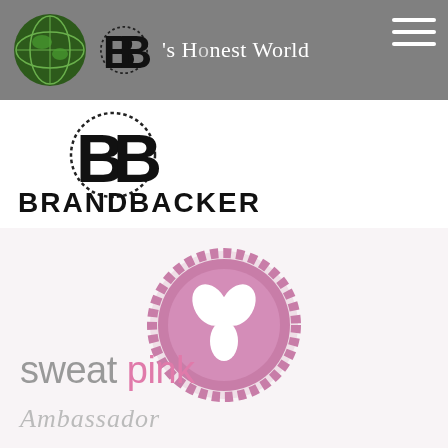Naturally Real, Naturally Honest – Nicole's Honest World
[Figure (logo): BrandBacker logo: large BB lettermark inside a dotted circle, with BRANDBACKER text below in bold black sans-serif]
[Figure (logo): Sweat Pink Ambassador logo: pink gear/seal badge with white butterfly/flower icon, and 'sweat pink Ambassador' text below]